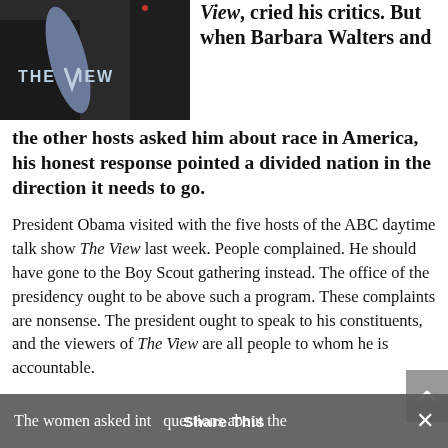[Figure (photo): Photo showing The View logo and two people in formal attire, partially visible]
View, cried his critics. But when Barbara Walters and the other hosts asked him about race in America, his honest response pointed a divided nation in the direction it needs to go.
President Obama visited with the five hosts of the ABC daytime talk show The View last week. People complained. He should have gone to the Boy Scout gathering instead. The office of the presidency ought to be above such a program. These complaints are nonsense. The president ought to speak to his constituents, and the viewers of The View are all people to whom he is accountable.
The women asked into questions about the
Share This  ×